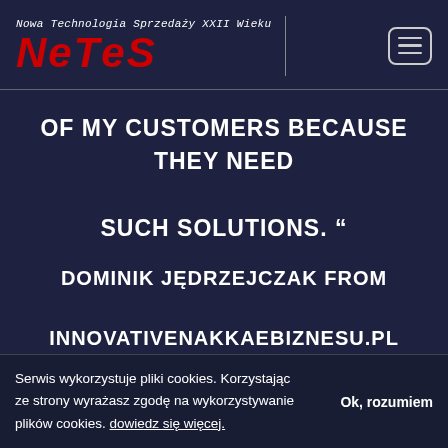[Figure (logo): NeTes logo with tagline 'Nowa Technologia Sprzedaży XXII Wieku' and hamburger menu icon]
OF MY CUSTOMERS BECAUSE THEY NEED SUCH SOLUTIONS. “
DOMINIK JĘDRZEJCZAK FROM INNOVATIVENAKKAEBIZNESU.PL
Serwis wykorzystuje pliki cookies. Korzystając ze strony wyrażasz zgodę na wykorzystywanie plików cookies. dowiedz się więcej.    Ok, rozumiem